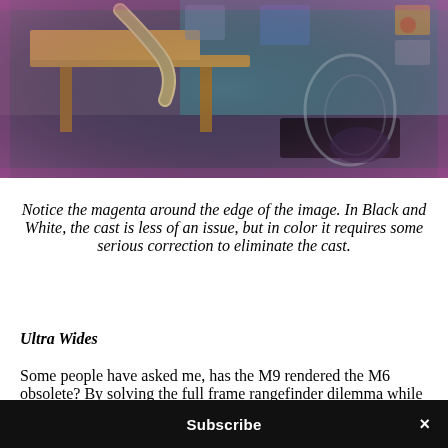[Figure (photo): Interior of a workshop or studio with wooden worktables, equipment, a flexible hose or tube, and various items on walls. The image shows a magenta color cast around the edges.]
Notice the magenta around the edge of the image. In Black and White, the cast is less of an issue, but in color it requires some serious correction to eliminate the cast.
Ultra Wides
Some people have asked me, has the M9 rendered the M6 obsolete? By solving the full frame rangefinder dilemma while maintaining Leica’s tradition, why ████
Subscribe ×